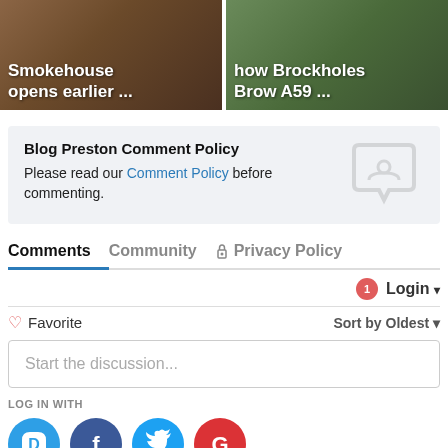[Figure (photo): Two news article thumbnail cards side by side. Left: 'Smokehouse opens earlier ...' with a warm restaurant interior background. Right: 'how Brockholes Brow A59 ...' with an outdoor scene background.]
Blog Preston Comment Policy
Please read our Comment Policy before commenting.
Comments   Community   🔒 Privacy Policy
1  Login ▾
♡ Favorite   Sort by Oldest ▾
Start the discussion...
LOG IN WITH
[Figure (logo): Social login icons: Disqus (blue speech bubble with D), Facebook (dark blue circle with f), Twitter (light blue circle with bird), Google (red circle with G)]